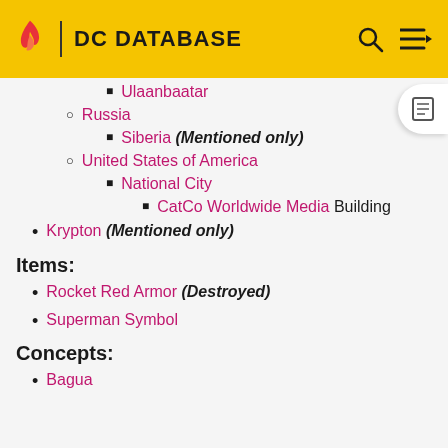DC DATABASE
Ulaanbaatar
Russia
Siberia (Mentioned only)
United States of America
National City
CatCo Worldwide Media Building
Krypton (Mentioned only)
Items:
Rocket Red Armor (Destroyed)
Superman Symbol
Concepts:
Bagua